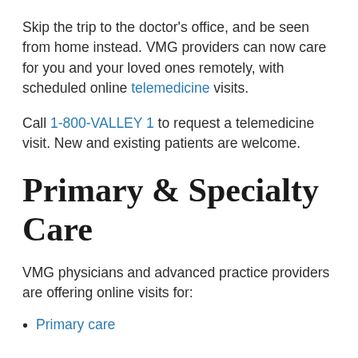Skip the trip to the doctor's office, and be seen from home instead. VMG providers can now care for you and your loved ones remotely, with scheduled online telemedicine visits.
Call 1-800-VALLEY 1 to request a telemedicine visit. New and existing patients are welcome.
Primary & Specialty Care
VMG physicians and advanced practice providers are offering online visits for:
Primary care